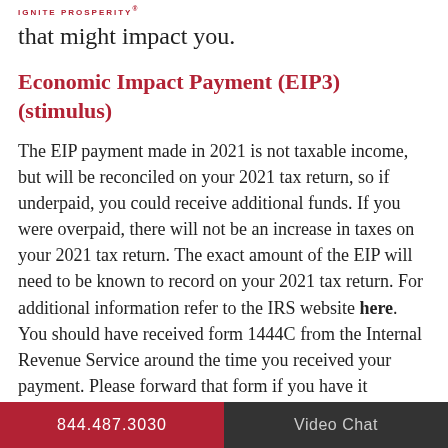IGNITE PROSPERITY
that might impact you.
Economic Impact Payment (EIP3) (stimulus)
The EIP payment made in 2021 is not taxable income, but will be reconciled on your 2021 tax return, so if underpaid, you could receive additional funds. If you were overpaid, there will not be an increase in taxes on your 2021 tax return. The exact amount of the EIP will need to be known to record on your 2021 tax return. For additional information refer to the IRS website here.  You should have received form 1444C from the Internal Revenue Service around the time you received your payment. Please forward that form if you have it available.
844.487.3030   Video Chat